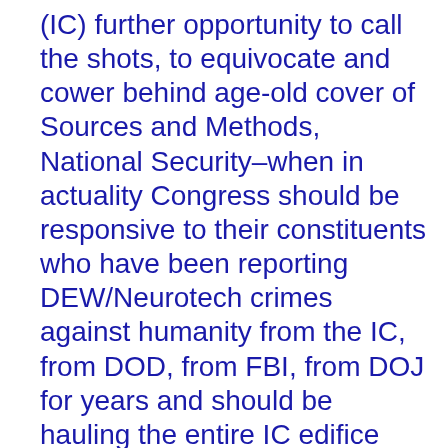(IC) further opportunity to call the shots, to equivocate and cower behind age-old cover of Sources and Methods, National Security–when in actuality Congress should be responsive to their constituents who have been reporting DEW/Neurotech crimes against humanity from the IC, from DOD, from FBI, from DOJ for years and should be hauling the entire IC edifice over the coals and subjecting them publicly–not in closed session–to a Church Committee 2.0 to unravel the truth of their doings since 1974. Similarly the DOD